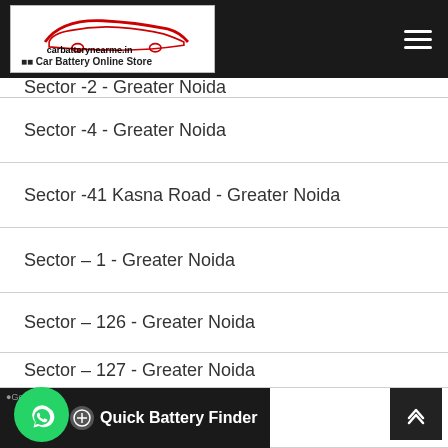carbatterynearme.in Car Battery Online Store
Sector -2 - Greater Noida
Sector -4 - Greater Noida
Sector -41 Kasna Road - Greater Noida
Sector – 1 - Greater Noida
Sector – 126 - Greater Noida
Sector – 127 - Greater Noida
Sector – 132 - Greater Noida
Quick Battery Finder